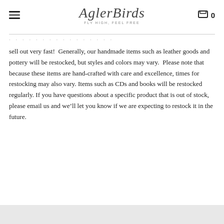AglerBirds — navigation header with hamburger menu, logo, and cart (0)
sell out very fast!  Generally, our handmade items such as leather goods and pottery will be restocked, but styles and colors may vary.  Please note that because these items are hand-crafted with care and excellence, times for restocking may also vary. Items such as CDs and books will be restocked regularly. If you have questions about a specific product that is out of stock, please email us and we'll let you know if we are expecting to restock it in the future.